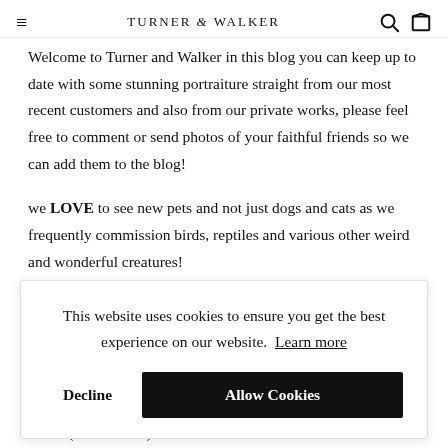≡  TURNER & WALKER  🔍 🛍
Welcome to Turner and Walker in this blog you can keep up to date with some stunning portraiture straight from our most recent customers and also from our private works, please feel free to comment or send photos of your faithful friends so we can add them to the blog!
we LOVE to see new pets and not just dogs and cats as we frequently commission birds, reptiles and various other weird and wonderful creatures!
This website uses cookies to ensure you get the best experience on our website. Learn more
Decline  Allow Cookies
You may have noticed around the site our lovely little Cocker Mike  (4 Years Old)